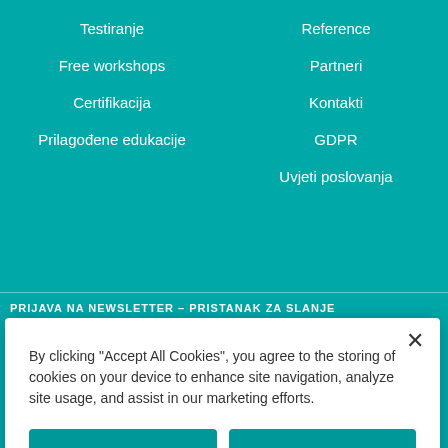Testiranje
Free workshops
Certifikacija
Prilagođene edukacije
Reference
Partneri
Kontakti
GDPR
Uvjeti poslovanja
PRIJAVA NA NEWSLETTER – PRISTANAK ZA SLANJE
By clicking "Accept All Cookies", you agree to the storing of cookies on your device to enhance site navigation, analyze site usage, and assist in our marketing efforts.
Accept All Cookies
Reject All
Customize Settings